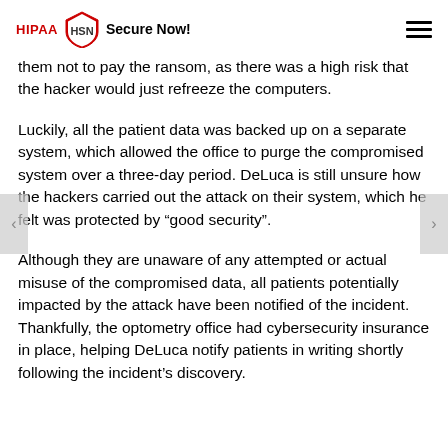HIPAA HSN Secure Now!
them not to pay the ransom, as there was a high risk that the hacker would just refreeze the computers.
Luckily, all the patient data was backed up on a separate system, which allowed the office to purge the compromised system over a three-day period. DeLuca is still unsure how the hackers carried out the attack on their system, which he felt was protected by “good security”.
Although they are unaware of any attempted or actual misuse of the compromised data, all patients potentially impacted by the attack have been notified of the incident. Thankfully, the optometry office had cybersecurity insurance in place, helping DeLuca notify patients in writing shortly following the incident’s discovery.